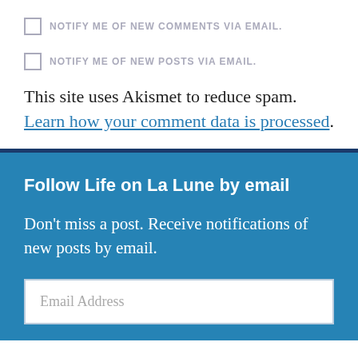NOTIFY ME OF NEW COMMENTS VIA EMAIL.
NOTIFY ME OF NEW POSTS VIA EMAIL.
This site uses Akismet to reduce spam. Learn how your comment data is processed.
Follow Life on La Lune by email
Don't miss a post. Receive notifications of new posts by email.
Email Address